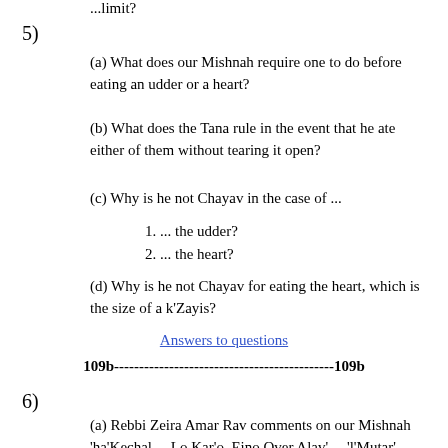...limit?
5)
(a) What does our Mishnah require one to do before eating an udder or a heart?
(b) What does the Tana rule in the event that he ate either of them without tearing it open?
(c) Why is he not Chayav in the case of ...
1. ... the udder?
2. ... the heart?
(d) Why is he not Chayav for eating the heart, which is the size of a k'Zayis?
Answers to questions
109b--------------------------------------------109b
6)
(a) Rebbi Zeira Amar Rav comments on our Mishnah 'ha'Kechal ... Lo Kar'o, Eino Over Alav' ... 'l'Mutar'.